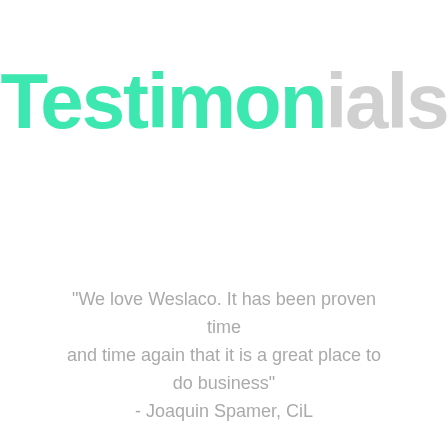Testimonials
"We love Weslaco. It has been proven time and time again that it is a great place to do business" - Joaquin Spamer, CiL